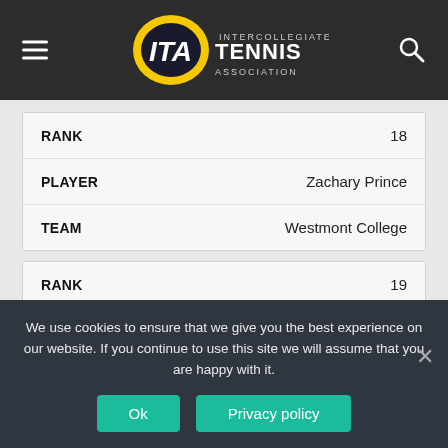[Figure (logo): ITA Intercollegiate Tennis Association logo in header navigation bar with hamburger menu and search icon]
| Field | Value |
| --- | --- |
| RANK | 18 |
| PLAYER | Zachary Prince |
| TEAM | Westmont College |
| Field | Value |
| --- | --- |
| RANK | 19 |
| PLAYER | Diego Navarro |
| TEAM | University Of Saint Katherine |
We use cookies to ensure that we give you the best experience on our website. If you continue to use this site we will assume that you are happy with it.